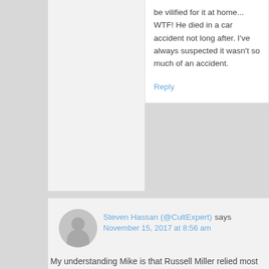be vilified for it at home... WTF! He died in a car accident not long after. I've always suspected it wasn't so much of an accident.
Reply
Steven Hassan (@CultExpert) says
November 15, 2017 at 8:56 am
My understanding Mike is that Russell Miller relied most heavily on the research of Jon Atack